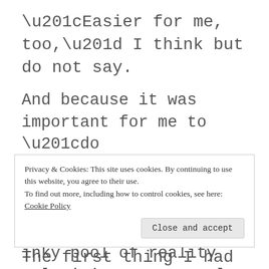“Easier for me, too,” I think but do not say.
And because it was important for me to “do something,” to “stay active,” to “not sink into an inky pool of reality television, spy novels and breakfast cereal” — no one actually said that last thing, although you could tell that’s what they were thinking.
Privacy & Cookies: This site uses cookies. By continuing to use this website, you agree to their use.
To find out more, including how to control cookies, see here: Cookie Policy
The first thing I had to do was learn